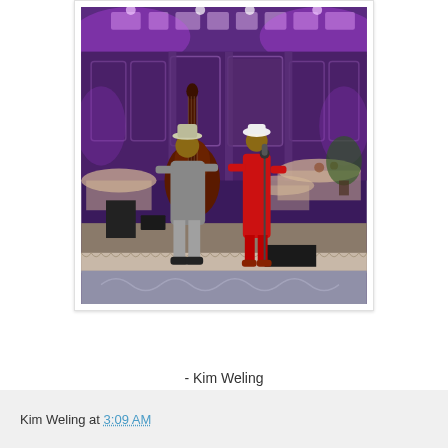[Figure (photo): Two musicians performing on a stage in an elegant ballroom with purple lighting. One musician plays a large upright double bass and wears a hat and light-colored outfit. The other person wears a red floor-length outfit and stands at a microphone. Decorative patterned carpet and round tables with white linens are visible in the background.]
- Kim Weling
Kim Weling at 3:09 AM